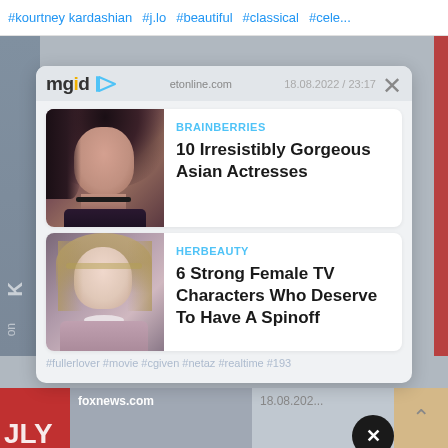#kourtney kardashian  #j.lo  #beautiful  #classical  #cele...
[Figure (screenshot): MGID sponsored content popup overlay with two article cards on a news website. First card: BRAINBERRIES - 10 Irresistibly Gorgeous Asian Actresses. Second card: HERBEAUTY - 6 Strong Female TV Characters Who Deserve To Have A Spinoff. Header shows mgid logo and etonline.com with date 18.08.2022 / 23:17.]
BRAINBERRIES
10 Irresistibly Gorgeous Asian Actresses
HERBEAUTY
6 Strong Female TV Characters Who Deserve To Have A Spinoff
foxnews.com   18.08.202...7